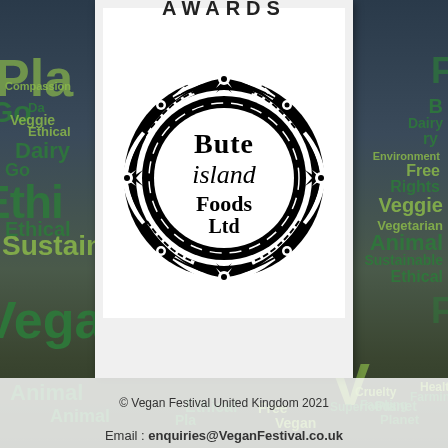[Figure (logo): Bute Island Foods Ltd logo — circular Celtic knotwork border with text 'Bute Island Foods Ltd' in the center]
© Vegan Festival United Kingdom 2021
Email : enquiries@VeganFestival.co.uk